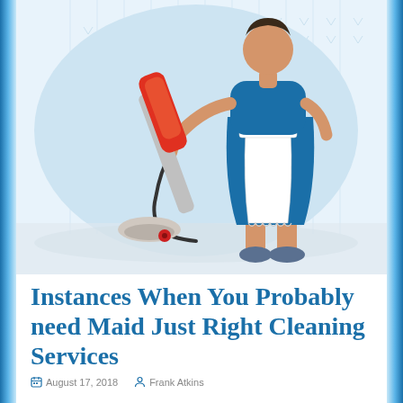[Figure (illustration): Illustration of a maid/cleaning lady in blue uniform and white apron using a red vacuum cleaner on a floor, with a light blue wallpaper background and oval backdrop.]
Instances When You Probably need Maid Just Right Cleaning Services
August 17, 2018   Frank Atkins